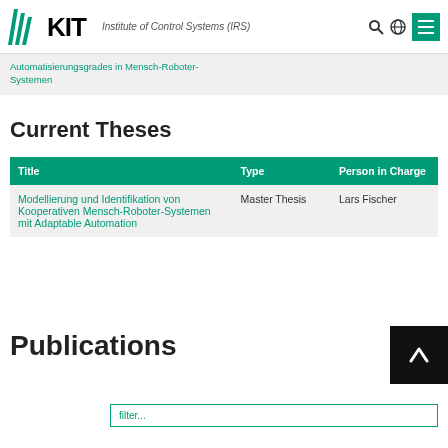KIT – Institute of Control Systems (IRS)
Automatisierungsgrades in Mensch-Roboter-Systemen
Current Theses
| Title | Type | Person in Charge |
| --- | --- | --- |
| Modellierung und Identifikation von Kooperativen Mensch-Roboter-Systemen mit Adaptable Automation | Master Thesis | Lars Fischer |
Publications
filter...